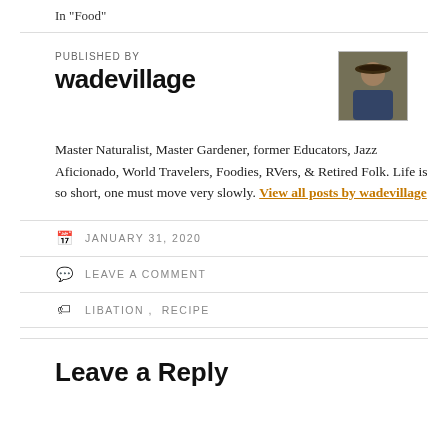In "Food"
PUBLISHED BY
wadevillage
[Figure (photo): Avatar photo of wadevillage author — person wearing hat outdoors]
Master Naturalist, Master Gardener, former Educators, Jazz Aficionado, World Travelers, Foodies, RVers, & Retired Folk. Life is so short, one must move very slowly. View all posts by wadevillage
JANUARY 31, 2020
LEAVE A COMMENT
LIBATION , RECIPE
Leave a Reply